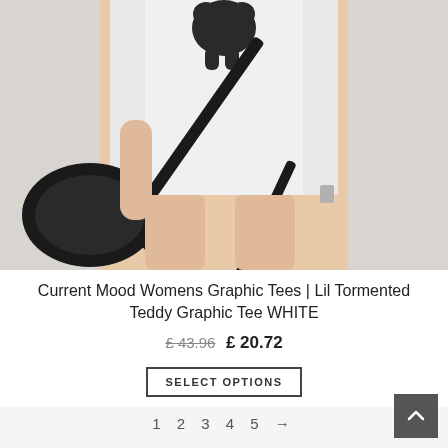[Figure (photo): A woman wearing a white graphic tee with a dark bear/teddy graphic and black harness straps crossing over the body, holding a black leather bag. The image is cropped to show the torso and legs.]
Current Mood Womens Graphic Tees | Lil Tormented Teddy Graphic Tee WHITE
£ 43.96  £ 20.72
SELECT OPTIONS
1  2  3  4  5  →